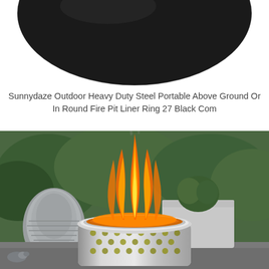[Figure (photo): Black circular steel fire pit liner ring disc viewed from above on white background, partially cropped at top]
Sunnydaze Outdoor Heavy Duty Steel Portable Above Ground Or In Round Fire Pit Liner Ring 27 Black Com
[Figure (photo): A stainless steel cylindrical fire pit with holes around the base, burning with bright orange and yellow flames, set in a garden with green shrubs and a stone water feature in the background]